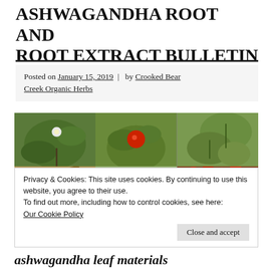ASHWAGANDHA ROOT AND ROOT EXTRACT BULLETIN
Posted on January 15, 2019 | by Crooked Bear Creek Organic Herbs
[Figure (photo): Six-panel photo grid showing ashwagandha plant parts: top row left - green plant with white flower, top row middle - plant with red berry, top row right - large green leaves; bottom row left - dried roots, bottom row middle - close-up pale green leaves, bottom row right - red berries/seeds]
Privacy & Cookies: This site uses cookies. By continuing to use this website, you agree to their use.
To find out more, including how to control cookies, see here:
Our Cookie Policy
Close and accept
ashwagandha leaf materials